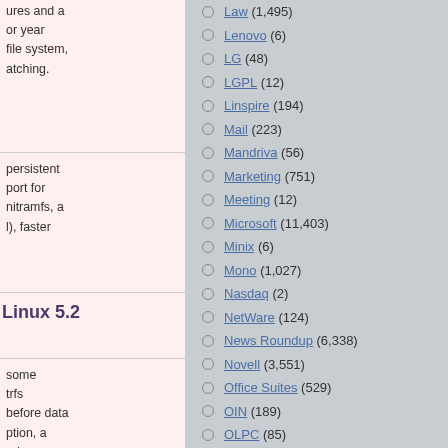ures and a
or year
file system,
atching.
persistent
port for
nitramfs, a
l), faster
Linux 5.2
some
trfs
before data
ption, a
ode, a
nc'ing on
v skips
er fixes
rements
Law (1,495)
Lenovo (6)
LG (48)
LGPL (12)
Linspire (194)
Mail (223)
Mandriva (56)
Marketing (751)
Meeting (12)
Microsoft (11,403)
Minix (6)
Mono (1,027)
Nasdaq (2)
NetWare (124)
News Roundup (6,338)
Novell (3,551)
Office Suites (529)
OIN (189)
OLPC (85)
Open XML (1,224)
OpenDocument (851)
OpenOffice (379)
OpenSUSE (566)
Oracle (290)
OSDL (24)
OSI (230)
Patent Counsel (165)